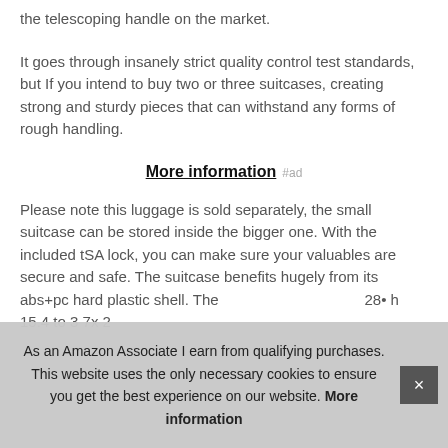the telescoping handle on the market.
It goes through insanely strict quality control test standards, but If you intend to buy two or three suitcases, creating strong and sturdy pieces that can withstand any forms of rough handling.
More information #ad
Please note this luggage is sold separately, the small suitcase can be stored inside the bigger one. With the included tSA lock, you can make sure your valuables are secure and safe. The suitcase benefits hugely from its abs+pc hard plastic shell. The different sizes, the different sizes, 28inch 15.4 to 3 7x 2...
As an Amazon Associate I earn from qualifying purchases. This website uses the only necessary cookies to ensure you get the best experience on our website. More information